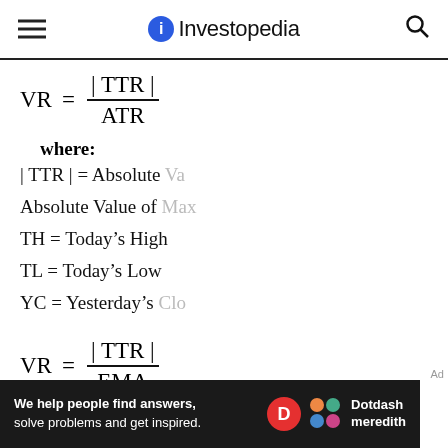Investopedia
where:
| TTR | = Absolute Value of Max
TH = Today's High
TL = Today's Low
YC = Yesterday's Close
where: